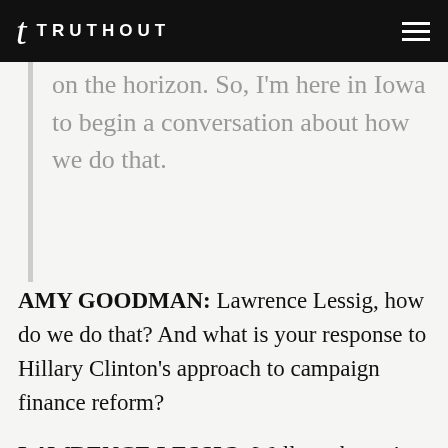TRUTHOUT
on the horizon. So, I'm here in Iowa to begin a conversation about how we do that.
AMY GOODMAN: Lawrence Lessig, how do we do that? And what is your response to Hillary Clinton's approach to campaign finance reform?
LAWRENCE LESSIG: Well, we haven't seen a lot. She's talked about a constitutional amendment, which of course I support the idea of a constitutional amendment, but I think we have